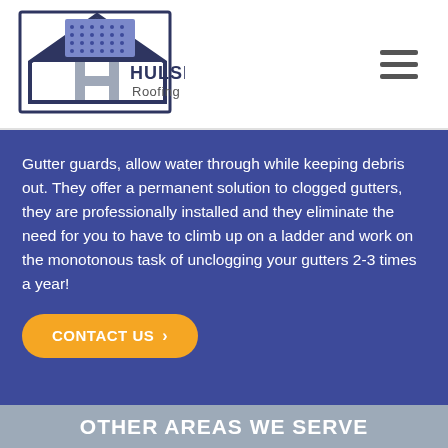[Figure (logo): Hulsey Roofing Co. logo with house/roof icon and stylized H letter]
Gutter guards, allow water through while keeping debris out. They offer a permanent solution to clogged gutters, they are professionally installed and they eliminate the need for you to have to climb up on a ladder and work on the monotonous task of unclogging your gutters 2-3 times a year!
CONTACT US >
OTHER AREAS WE SERVE
Arnold || Oakville || Sunset Hills || Crestwood || Mehlville || Fenton